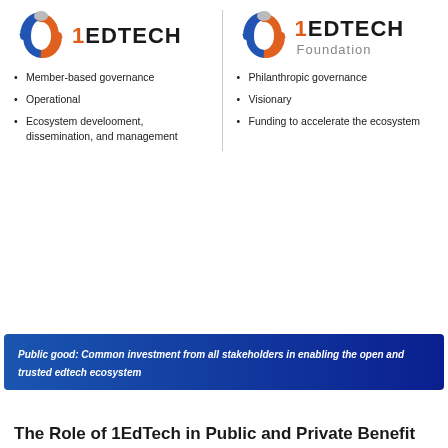[Figure (logo): 1EdTech logo - circular icon with blue and orange arrows around a heart shape, next to bold text '1EDTECH']
Member-based governance
Operational
Ecosystem develooment, dissemination, and management
[Figure (logo): 1EdTech Foundation logo - same circular icon next to text '1EDTECH' and 'Foundation' in gray below]
Philanthropic governance
Visionary
Funding to accelerate the ecosystem
Public good: Common investment from all stakeholders in enabling the open and trusted edtech ecosystem
The Role of 1EdTech in Public and Private Benefit